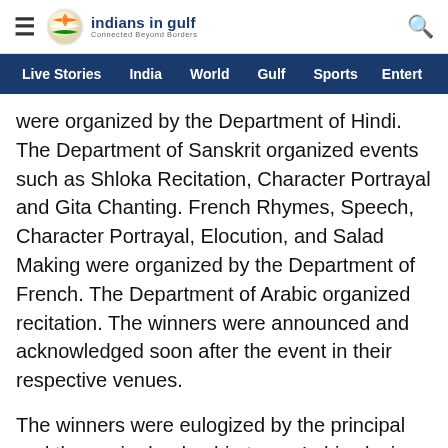indians in gulf — Connected Beyond Borders
Live Stories | India | World | Gulf | Sports | Entert
were organized by the Department of Hindi. The Department of Sanskrit organized events such as Shloka Recitation, Character Portrayal and Gita Chanting. French Rhymes, Speech, Character Portrayal, Elocution, and Salad Making were organized by the Department of French. The Department of Arabic organized recitation. The winners were announced and acknowledged soon after the event in their respective venues.
The winners were eulogized by the principal and the senior leadership team. In his closing thoughts, the principal thanked the chief guest and applauded the team for the wonderful coordination. In the era of